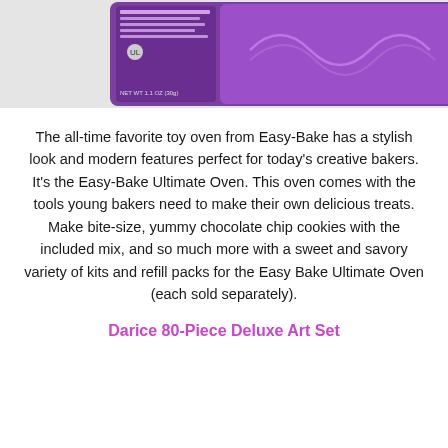[Figure (photo): Product photo of the Easy-Bake Ultimate Oven packaging, showing a purple oven with decorative swirls and collage of baked goods on the right side. Text on box includes NET WT 1.1 OZ (30g).]
The all-time favorite toy oven from Easy-Bake has a stylish look and modern features perfect for today's creative bakers. It's the Easy-Bake Ultimate Oven. This oven comes with the tools young bakers need to make their own delicious treats. Make bite-size, yummy chocolate chip cookies with the included mix, and so much more with a sweet and savory variety of kits and refill packs for the Easy Bake Ultimate Oven (each sold separately).
Darice 80-Piece Deluxe Art Set